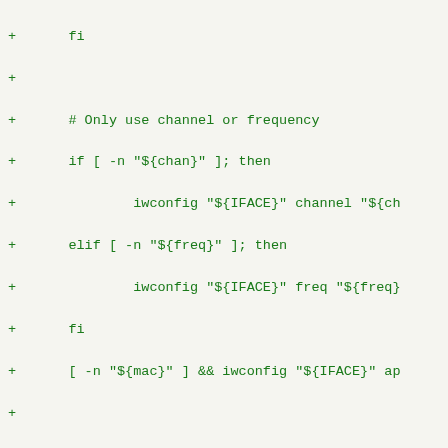Code diff showing shell script lines with + prefix, including fi, # Only use channel or frequency, if [ -n "${chan}" ]; then, iwconfig "${IFACE}" channel "${ch, elif [ -n "${freq}" ]; then, iwconfig "${IFACE}" freq "${freq}, fi, [ -n "${mac}" ] && iwconfig "${IFACE}" ap, (blank), # Finally apply the user Config, iwconfig_user_config, (blank), ebegin "Connecting to \"${SSID}\" in ${mo, (blank), if [ "${SSID}" != "any" ] && type preasso, veinfo "Running preassociate func, veindent, ( preassociate ), local e=$?, veoutdent, if [ ${e} -eq 0 ]; then